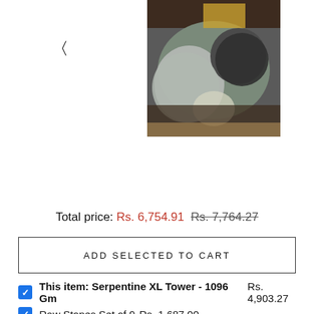[Figure (photo): A hand holding multiple raw crystal/gemstones including clear quartz and dark minerals, displayed against a wooden background. Navigation arrows on left and right sides.]
Total price: Rs. 6,754.91  Rs. 7,764.27
ADD SELECTED TO CART
This item: Serpentine XL Tower - 1096 Gm  Rs. 4,903.27
Raw Stones Set of 9  Rs. 1,687.00